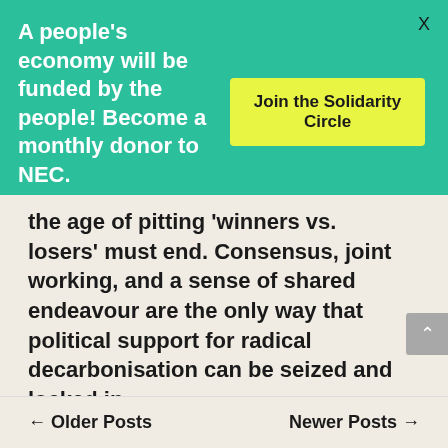A people's economy will be funded by the people! Become a monthly donor to NEC.
X
Join the Solidarity Circle
the age of pitting ‘winners vs. losers’ must end. Consensus, joint working, and a sense of shared endeavour are the only way that political support for radical decarbonisation can be seized and locked in.
← Older Posts   Newer Posts →